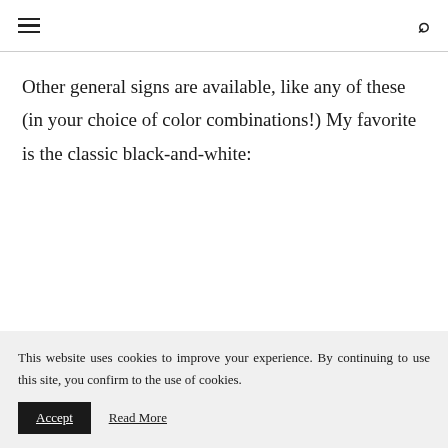≡  🔍
Other general signs are available, like any of these (in your choice of color combinations!) My favorite is the classic black-and-white:
This website uses cookies to improve your experience. By continuing to use this site, you confirm to the use of cookies.
Accept   Read More